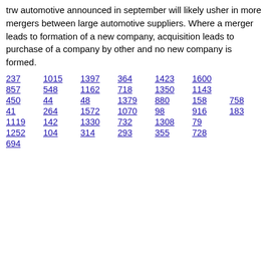trw automotive announced in september will likely usher in more mergers between large automotive suppliers. Where a merger leads to formation of a new company, acquisition leads to purchase of a company by other and no new company is formed.
237  1015  1397  364  1423  1600
857  548  1162  718  1350  1143
450  44  48  1379  880  158  758
41  264  1572  1070  98  916  183
1119  142  1330  732  1308  79
1252  104  314  293  355  728
694